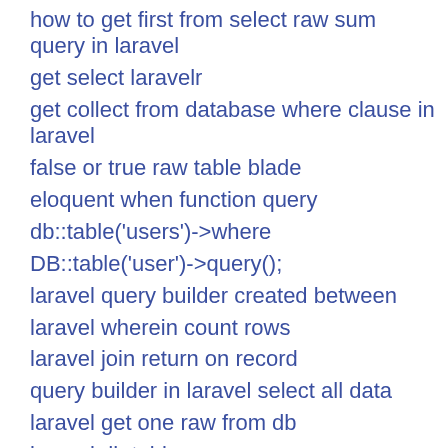how to get first from select raw sum query in laravel
get select laravelr
get collect from database where clause in laravel
false or true raw table blade
eloquent when function query
db::table('users')->where
DB::table('user')->query();
laravel query builder created between
laravel wherein count rows
laravel join return on record
query builder in laravel select all data
laravel get one raw from db
laravel db:table